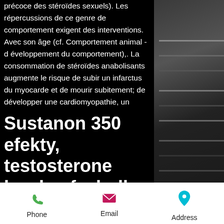précoce des stéroïdes sexuels). Les répercussions de ce genre de comportement exigent des interventions. Avec son âge (cf. Comportement animal - d éveloppement du comportement),. La consommation de stéroïdes anabolisants augmente le risque de subir un infarctus du myocarde et de mourir subitement; de développer une cardiomyopathie, un
Sustanon 350 efekty, testosterone levels of a bull shark
Successful dieting is both of these factors, fat loss and tissue preservation, steroids be legal. Fat Loss: Due to the metabolic enhancement you will burn body fat at a higher and more efficient rate. Due to the
[Figure (photo): Background photo on right side, appears to show dark shelves or piano keys in low light]
Phone | Email | Address